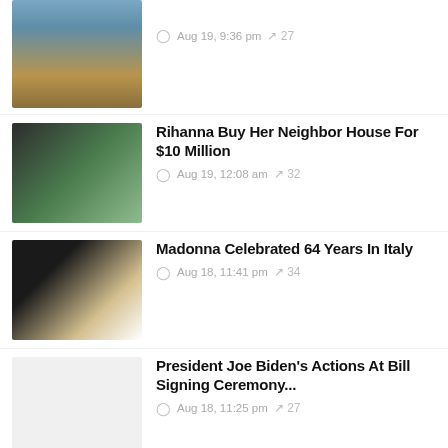[Figure (photo): Child looking out airplane window]
Aug 19, 9:36 pm  ↗ 27
[Figure (photo): Rihanna and a house]
Rihanna Buy Her Neighbor House For $10 Million
Aug 19, 12:08 am  ↗ 32
[Figure (photo): Madonna closeup portrait]
Madonna Celebrated 64 Years In Italy
Aug 18, 11:41 pm  ↗ 34
[Figure (photo): Blank/light grey placeholder image]
President Joe Biden's Actions At Bill Signing Ceremony...
Aug 18, 11:25 pm  ↗ 27
[Figure (photo): Partial pink-toned portrait, bottom of page]
Warner Bros Cancelled Ellen
[Figure (other): Back to top arrow button (blue)]